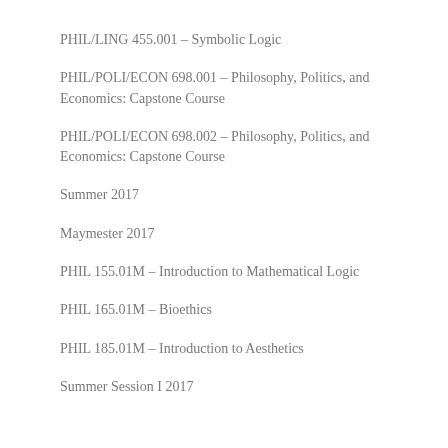PHIL/LING 455.001 – Symbolic Logic
PHIL/POLI/ECON 698.001 – Philosophy, Politics, and Economics: Capstone Course
PHIL/POLI/ECON 698.002 – Philosophy, Politics, and Economics: Capstone Course
Summer 2017
Maymester 2017
PHIL 155.01M – Introduction to Mathematical Logic
PHIL 165.01M – Bioethics
PHIL 185.01M – Introduction to Aesthetics
Summer Session I 2017